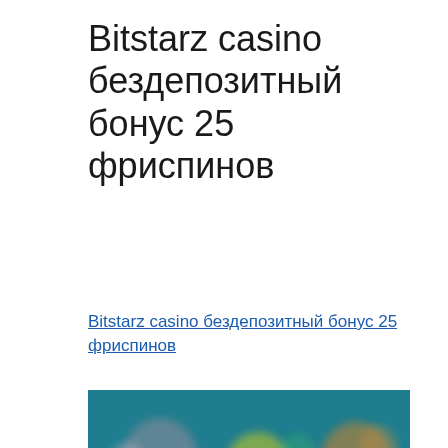Bitstarz casino бездепозитный бонус 25 фриспинов
Bitstarz casino бездепозитный бонус 25 фриспинов
[Figure (screenshot): Blurred screenshot of Bitstarz casino website showing game thumbnails with teal/dark background]